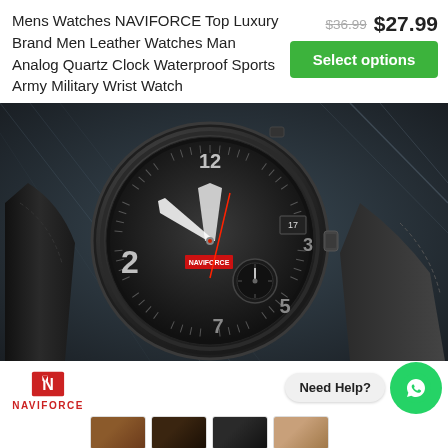Mens Watches NAVIFORCE Top Luxury Brand Men Leather Watches Man Analog Quartz Clock Waterproof Sports Army Military Wrist Watch
$36.99  $27.99
Select options
[Figure (photo): Close-up product photo of a NAVIFORCE men's black leather military wrist watch with black dial, showing the watch face with arabic numerals 12, 3, 5, 7 visible, on a dark metallic background.]
[Figure (logo): NAVIFORCE brand logo in red with the brand name text below it.]
Need Help?
[Figure (illustration): WhatsApp green circle button with white phone/chat icon.]
[Figure (photo): Color swatches showing different strap color options for the watch.]